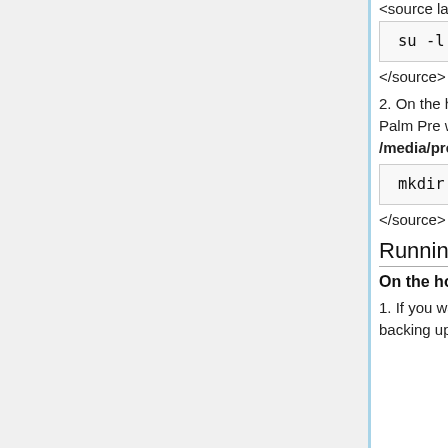<source lang=bash>
su -l
</source>
2. On the host, you will need to create a directory where the Palm Pre will back up the files. My example will be /media/pre-backup <source lang=bash>
mkdir /media/pre-backup
</source>
Running the transfer
On the host
1. If you want to exclude any directories you are already backing up (or simply don't want to include), add --